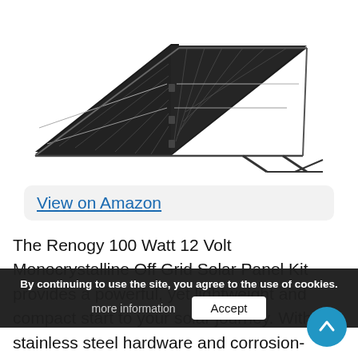[Figure (photo): Renogy 100 Watt 12 Volt Monocrystalline solar panel kit with adjustable aluminum stand, shown at an angle on a white background. The panel is dark/black with visible cell lines.]
View on Amazon
The Renogy 100 Watt 12 Volt Monocrystalline Off Grid Solar Panel Kit provides a powerful, yet lightweight and compact start to your solar journey. With stainless steel hardware and corrosion-resistant aluminum stand, it offers 19.9 x 27.2 x 2.8 inches when folded for easy transportation, making on-the-go installation quick and